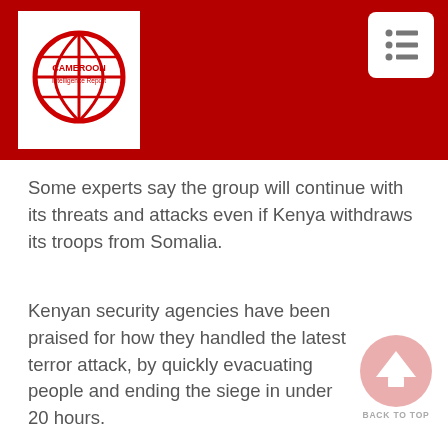[Figure (logo): Cameroon Intelligence Report logo — red globe with text on white background]
Some experts say the group will continue with its threats and attacks even if Kenya withdraws its troops from Somalia.
Kenyan security agencies have been praised for how they handled the latest terror attack, by quickly evacuating people and ending the siege in under 20 hours.